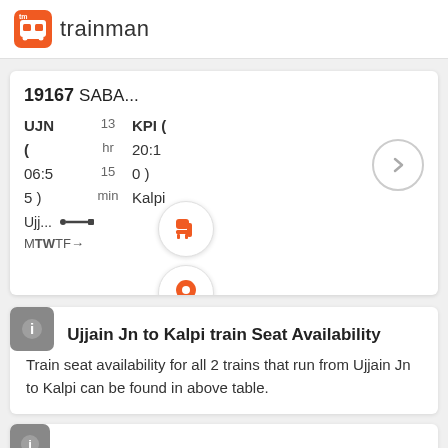trainman
19167 SABA...
UJN ( 06:55 )  13 hr 15 min  KPI ( 20:10 )
Ujj...  MTWTF→
Ujjain Jn to Kalpi train Seat Availability
Train seat availability for all 2 trains that run from Ujjain Jn to Kalpi can be found in above table.